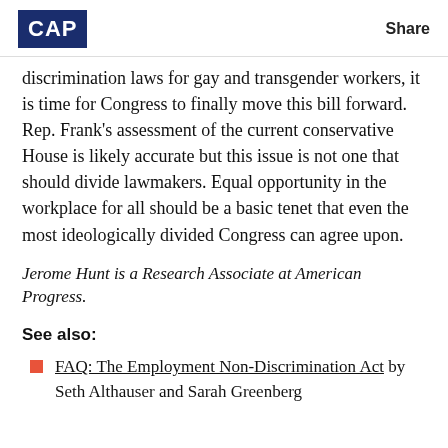CAP | Share
discrimination laws for gay and transgender workers, it is time for Congress to finally move this bill forward. Rep. Frank's assessment of the current conservative House is likely accurate but this issue is not one that should divide lawmakers. Equal opportunity in the workplace for all should be a basic tenet that even the most ideologically divided Congress can agree upon.
Jerome Hunt is a Research Associate at American Progress.
See also:
FAQ: The Employment Non-Discrimination Act by Seth Althauser and Sarah Greenberg